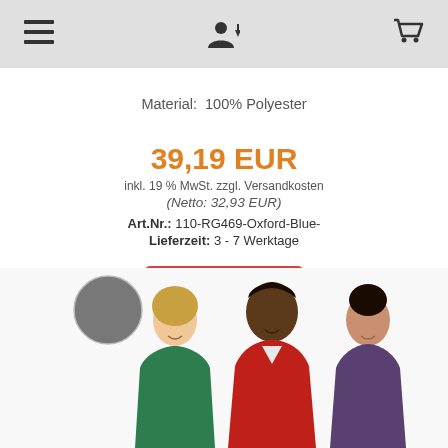☰  👤↓  🛒
Material:  100% Polyester
39,19 EUR
inkl. 19 % MwSt. zzgl. Versandkosten
(Netto: 32,93 EUR)
Art.Nr.: 110-RG469-Oxford-Blue-
Lieferzeit: 3 - 7 Werktage
Details
[Figure (photo): Three people wearing jackets (green, red, grey/purple) with a grey color swatch circle in upper left]